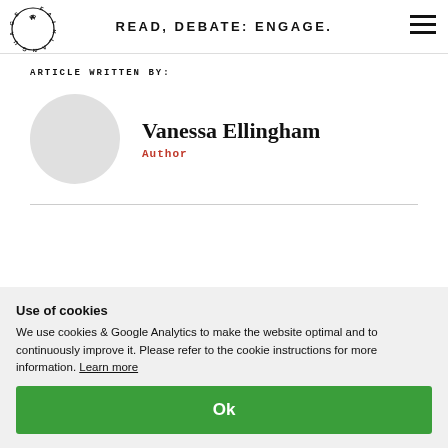READ, DEBATE: ENGAGE.
ARTICLE WRITTEN BY:
[Figure (illustration): Circular author avatar placeholder in light grey]
Vanessa Ellingham
Author
Use of cookies
We use cookies & Google Analytics to make the website optimal and to continuously improve it. Please refer to the cookie instructions for more information. Learn more
Ok